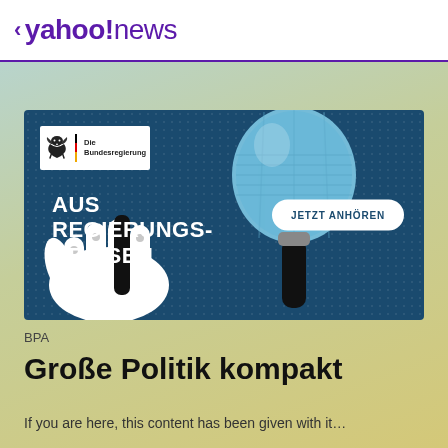< yahoo!news
[Figure (illustration): Advertisement banner for 'Aus Regierungskreisen' podcast by Die Bundesregierung (BPA). Dark blue background with dot pattern, a microphone illustration, a white hand holding the mic, the text 'AUS REGIERUNGS-KREISEN' in large white bold letters, a white pill-shaped button labeled 'JETZT ANHÖREN', and the Die Bundesregierung logo in the top-left white box.]
BPA
Große Politik kompakt
If you are here, this content has been given with it...